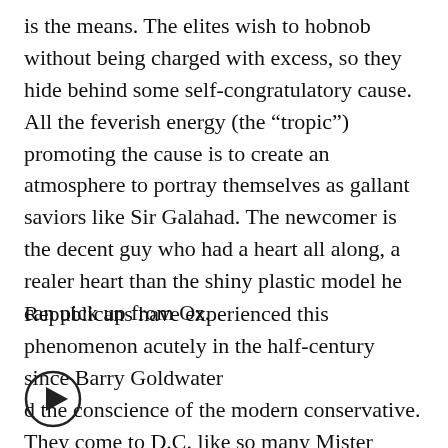is the means. The elites wish to hobnob without being charged with excess, so they hide behind some self-congratulatory cause. All the feverish energy (the “tropic”) promoting the cause is to create an atmosphere to portray themselves as gallant saviors like Sir Galahad. The newcomer is the decent guy who had a heart all along, a realer heart than the shiny plastic model he can pick up from Oz.
Republicans have experienced this phenomenon acutely in the half-century since Barry Goldwater [play button] d the conscience of the modern conservative. They come to D.C. like so many Mister Smiths to defend the Constitution and limit